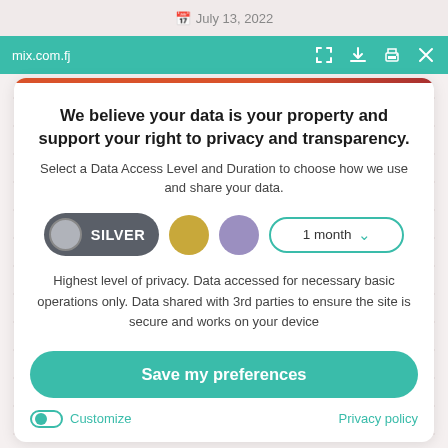July 13, 2022
mix.com.fj
We believe your data is your property and support your right to privacy and transparency.
Select a Data Access Level and Duration to choose how we use and share your data.
[Figure (other): Privacy level selector showing SILVER toggle button (dark grey with silver circle), gold circle, purple circle, and a '1 month' dropdown selector with teal border]
Highest level of privacy. Data accessed for necessary basic operations only. Data shared with 3rd parties to ensure the site is secure and works on your device
Save my preferences
Customize
Privacy policy